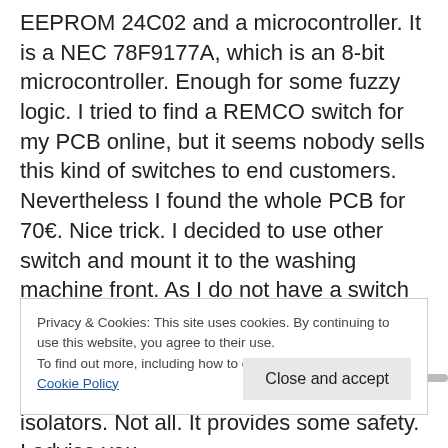EEPROM 24C02 and a microcontroller. It is a NEC 78F9177A, which is an 8-bit microcontroller. Enough for some fuzzy logic. I tried to find a REMCO switch for my PCB online, but it seems nobody sells this kind of switches to end customers. Nevertheless I found the whole PCB for 70€. Nice trick. I decided to use other switch and mount it to the washing machine front. As I do not have a switch for such amperage, I decided to brick the PCB switch and use a cable switch
Privacy & Cookies: This site uses cookies. By continuing to use this website, you agree to their use.
To find out more, including how to control cookies, see here:
Cookie Policy
bricks. Some dry nail polishes are isolators. Not all. It provides some safety. I advise you